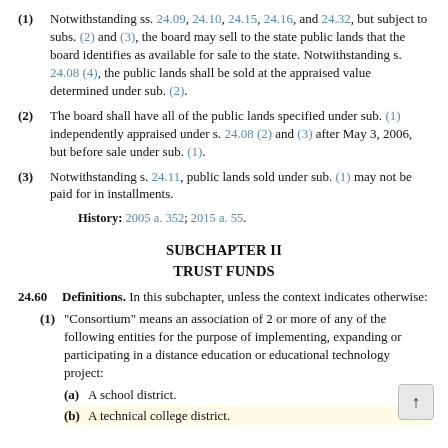(1) Notwithstanding ss. 24.09, 24.10, 24.15, 24.16, and 24.32, but subject to subs. (2) and (3), the board may sell to the state public lands that the board identifies as available for sale to the state. Notwithstanding s. 24.08 (4), the public lands shall be sold at the appraised value determined under sub. (2).
(2) The board shall have all of the public lands specified under sub. (1) independently appraised under s. 24.08 (2) and (3) after May 3, 2006, but before sale under sub. (1).
(3) Notwithstanding s. 24.11, public lands sold under sub. (1) may not be paid for in installments.
History: 2005 a. 352; 2015 a. 55.
SUBCHAPTER II
TRUST FUNDS
24.60 Definitions. In this subchapter, unless the context indicates otherwise:
(1) “Consortium” means an association of 2 or more of any of the following entities for the purpose of implementing, expanding or participating in a distance education or educational technology project:
(a) A school district.
(b) A technical college district.